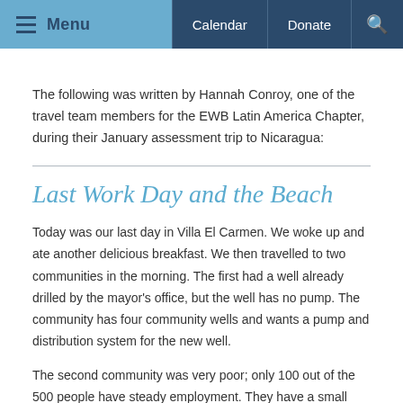Menu  Calendar  Donate  [search]
The following was written by Hannah Conroy,  one of the travel team members for the EWB Latin America Chapter, during their January assessment trip to Nicaragua:
Last Work Day and the Beach
Today was our last day in Villa El Carmen. We woke up and ate another delicious breakfast. We then travelled to two communities in the morning. The first had a well already drilled by the mayor's office, but the well has no pump. The community has four community wells and wants a pump and distribution system for the new well.
The second community was very poor; only 100 out of the 500 people have steady employment. They have a small community well that serves 10 families, but most use hand